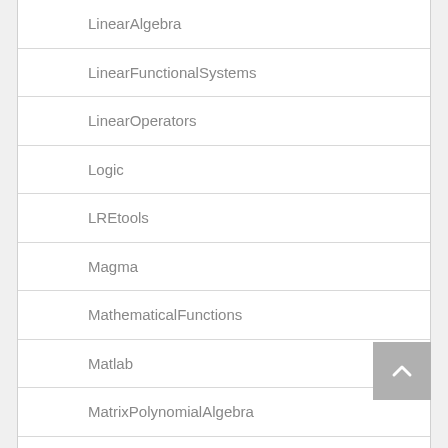LinearAlgebra
LinearFunctionalSystems
LinearOperators
Logic
LREtools
Magma
MathematicalFunctions
Matlab
MatrixPolynomialAlgebra
MultiSeries
numapprox